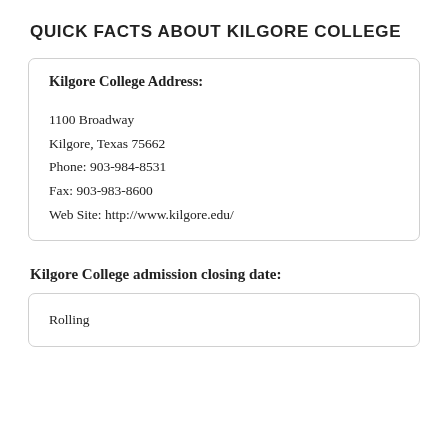QUICK FACTS ABOUT KILGORE COLLEGE
Kilgore College Address:
1100 Broadway
Kilgore, Texas 75662
Phone: 903-984-8531
Fax: 903-983-8600
Web Site: http://www.kilgore.edu/
Kilgore College admission closing date:
Rolling